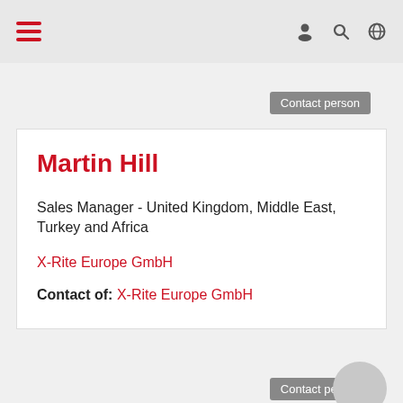Navigation bar with hamburger menu and icons
Contact person
Martin Hill
Sales Manager - United Kingdom, Middle East, Turkey and Africa
X-Rite Europe GmbH
Contact of: X-Rite Europe GmbH
Contact person
Petr Jetel